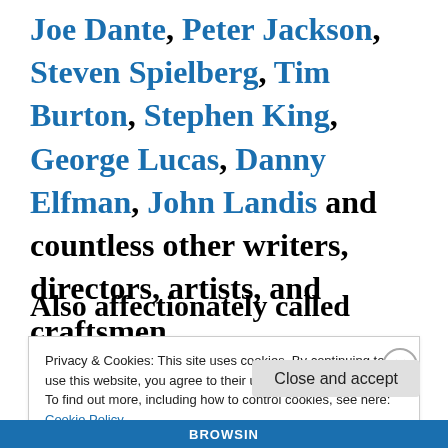Joe Dante, Peter Jackson, Steven Spielberg, Tim Burton, Stephen King, George Lucas, Danny Elfman, John Landis and countless other writers, directors, artists, and craftsmen.
Also affectionately called “Forry,”
Privacy & Cookies: This site uses cookies. By continuing to use this website, you agree to their use. To find out more, including how to control cookies, see here: Cookie Policy
Close and accept